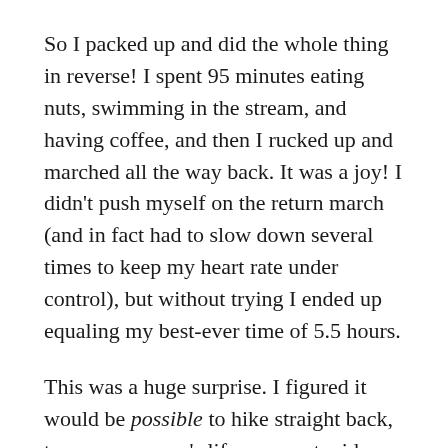So I packed up and did the whole thing in reverse! I spent 95 minutes eating nuts, swimming in the stream, and having coffee, and then I rucked up and marched all the way back. It was a joy! I didn't push myself on the return march (and in fact had to slow down several times to keep my heart rate under control), but without trying I ended up equaling my best-ever time of 5.5 hours.
This was a huge surprise. I figured it would be possible to hike straight back, to save someone's life or as a stupid stunt, but I supposed you'd have to do it on pure gumption and willpower.
But now I know better because I just did it, out